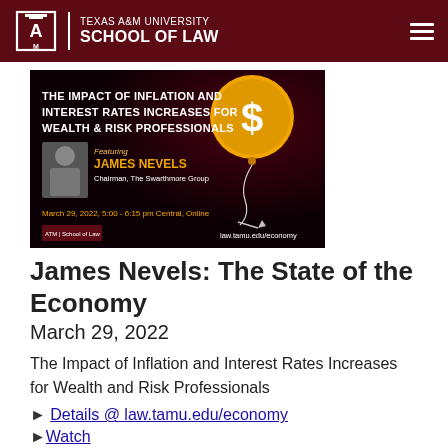TEXAS A&M UNIVERSITY SCHOOL OF LAW
[Figure (infographic): Event promotional banner with dark background and orange dollar-sign balloon. Text reads: THE IMPACT OF INFLATION AND INTEREST RATES INCREASES FOR WEALTH & RISK PROFESSIONALS. Featuring JAMES NEVELS, Chairman, The Swarthmore Group. March 29, 2022, 5:00 - 6:15 pm Central, Online. law.tamu.edu/economy]
James Nevels: The State of the Economy
March 29, 2022
The Impact of Inflation and Interest Rates Increases for Wealth and Risk Professionals
► Details @ law.tamu.edu/economy
►Watch